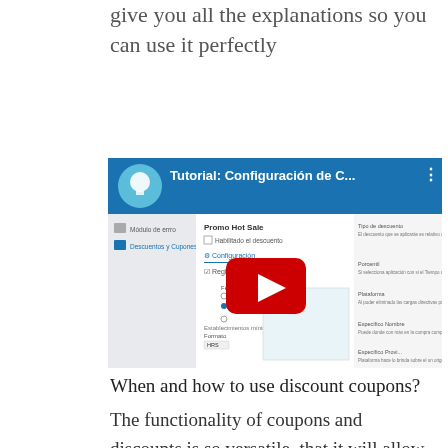give you all the explanations so you can use it perfectly
[Figure (screenshot): YouTube-style video thumbnail showing a tutorial titled 'Tutorial: Configuración de C...' with a red play button overlay, showing a form/configuration interface in the background]
When and how to use discount coupons?
The functionality of coupons and discounts is so versatile, that it will allow you to put into practice any idea you can think of to increase the sales of your